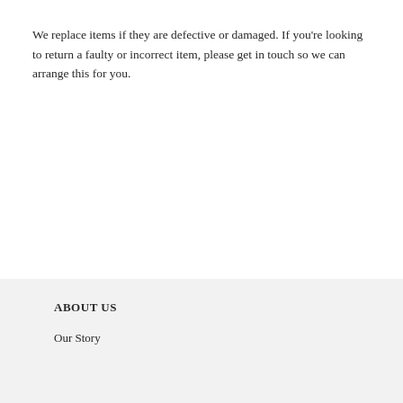We replace items if they are defective or damaged. If you're looking to return a faulty or incorrect item, please get in touch so we can arrange this for you.
ABOUT US
Our Story